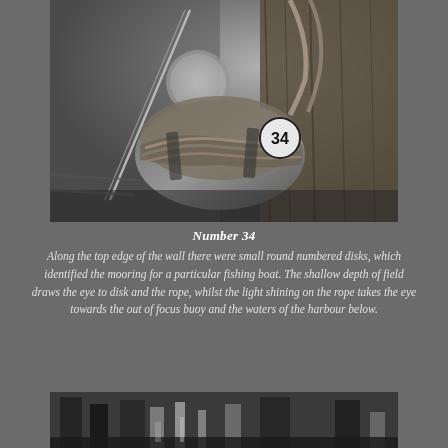[Figure (photo): Black and white photograph of a harbour mooring wall, showing a numbered disk (34) on a thick rope-wrapped wooden post, with an out-of-focus buoy hanging from ropes in the background and the harbour waters below.]
Number 34
Along the top edge of the wall there were small round numbered disks, which identified the mooring for a particular fishing boat. The shallow depth of field draws the eye to disk and the rope, whilst the light shining on the rope takes the eye towards the out of focus buoy and the waters of the harbour below.
[Figure (photo): Black and white photograph, lower portion visible, showing dark dock or harbour structures.]